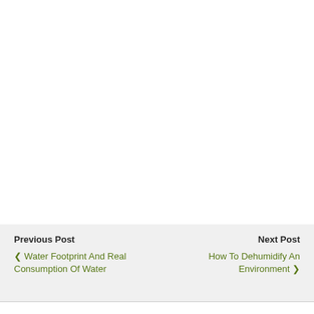Previous Post
‹ Water Footprint And Real Consumption Of Water
Next Post
How To Dehumidify An Environment ›